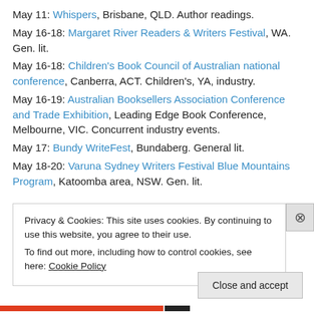May 11: Whispers, Brisbane, QLD. Author readings.
May 16-18: Margaret River Readers & Writers Festival, WA. Gen. lit.
May 16-18: Children's Book Council of Australian national conference, Canberra, ACT. Children's, YA, industry.
May 16-19: Australian Booksellers Association Conference and Trade Exhibition, Leading Edge Book Conference, Melbourne, VIC. Concurrent industry events.
May 17: Bundy WriteFest, Bundaberg. General lit.
May 18-20: Varuna Sydney Writers Festival Blue Mountains Program, Katoomba area, NSW. Gen. lit.
Privacy & Cookies: This site uses cookies. By continuing to use this website, you agree to their use. To find out more, including how to control cookies, see here: Cookie Policy